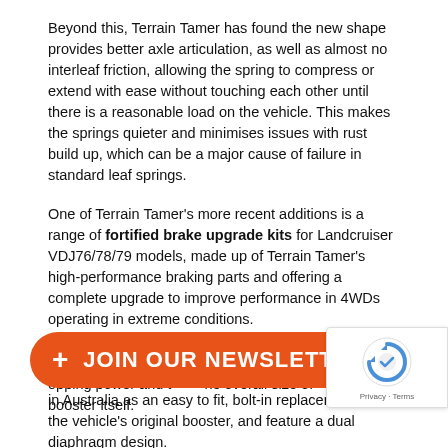Beyond this, Terrain Tamer has found the new shape provides better axle articulation, as well as almost no interleaf friction, allowing the spring to compress or extend with ease without touching each other until there is a reasonable load on the vehicle. This makes the springs quieter and minimises issues with rust build up, which can be a major cause of failure in standard leaf springs.
One of Terrain Tamer's more recent additions is a range of fortified brake upgrade kits for Landcruiser VDJ76/78/79 models, made up of Terrain Tamer's high-performance braking parts and offering a complete upgrade to improve performance in 4WDs operating in extreme conditions.
The kits include a Terrain Tamer heavy duty brake booster, which have been designed and engineered in Australia as an easy to fit, bolt-in replacement for the vehicle's original booster, and feature a dual diaphragm design.
This design effectively doubles the diaphragm surface area, acting to increase stopping power and the overall size of the booster itself.